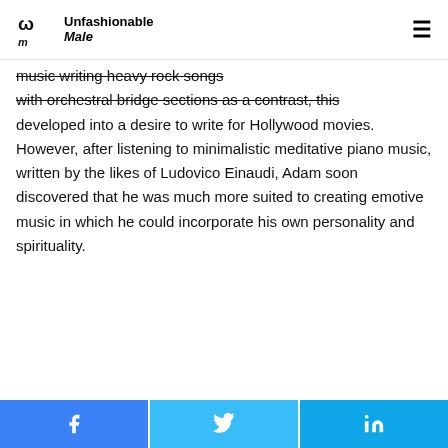Unfashionable Male
music writing heavy rock songs with orchestral bridge sections as a contrast, this developed into a desire to write for Hollywood movies. However, after listening to minimalistic meditative piano music, written by the likes of Ludovico Einaudi, Adam soon discovered that he was much more suited to creating emotive music in which he could incorporate his own personality and spirituality.
Facebook | Twitter | LinkedIn